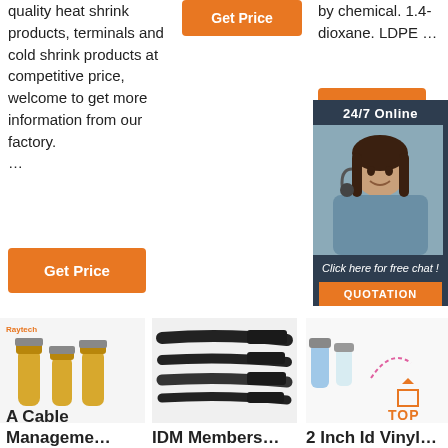quality heat shrink products, terminals and cold shrink products at competitive price, welcome to get more information from our factory. …
[Figure (other): Orange 'Get Price' button (top center area)]
by chemical. 1.4-dioxane. LDPE …
[Figure (other): Orange 'Get Price' button (right column)]
[Figure (other): 24/7 Online chat panel with agent photo, 'Click here for free chat!' text, and QUOTATION button]
[Figure (other): Orange 'Get Price' button (left column, large)]
[Figure (photo): Product photo: Raytech brand cable terminals/connectors (gold colored)]
[Figure (photo): Product photo: Black heat shrink tubing / cable management products]
[Figure (photo): Product photo: Blue and clear vinyl connectors / terminals with pink dotted arrow and TOP badge]
A Cable Manageme…
IDM Members…
2 Inch Id Vinyl…